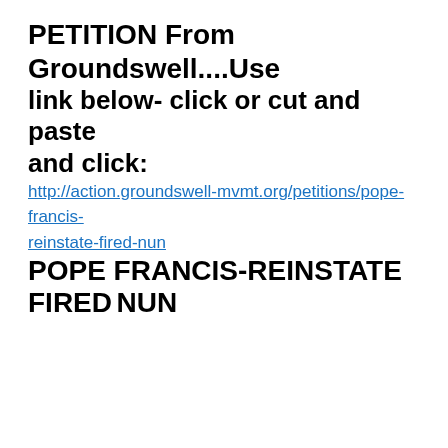PETITION  From Groundswell....Use
link below-  click or cut and paste
and click:
http://action.groundswell-mvmt.org/petitions/pope-francis-reinstate-fired-nun
POPE FRANCIS-REINSTATE FIRED NUN